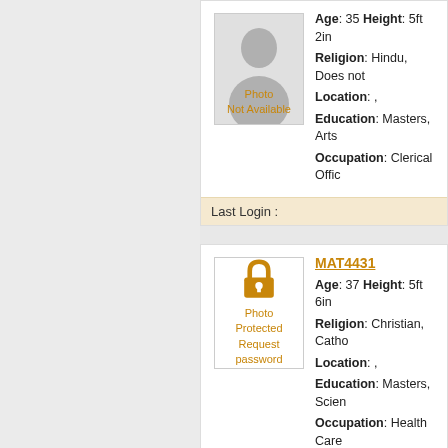[Figure (photo): Photo Not Available placeholder with silhouette icon]
Age: 35 Height: 5ft 2in
Religion: Hindu, Does not
Location: ,
Education: Masters, Arts
Occupation: Clerical Offic
Last Login :
MAT4431
[Figure (photo): Photo Protected - Request password, with lock icon]
Age: 37 Height: 5ft 6in
Religion: Christian, Catho
Location: ,
Education: Masters, Scien
Occupation: Health Care
Last Login :
MAT4432